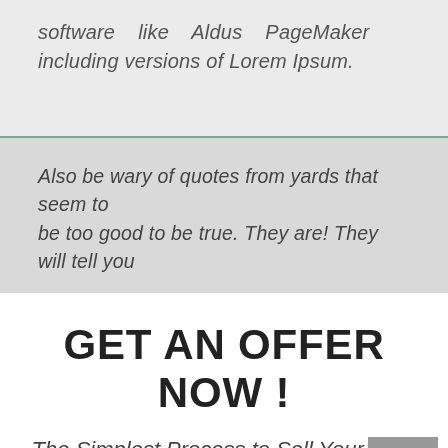software like Aldus PageMaker including versions of Lorem Ipsum.
Also be wary of quotes from yards that seem to be too good to be true. They are! They will tell you
GET AN OFFER NOW !
The Simplest Process to Sell Your Junk Car Today